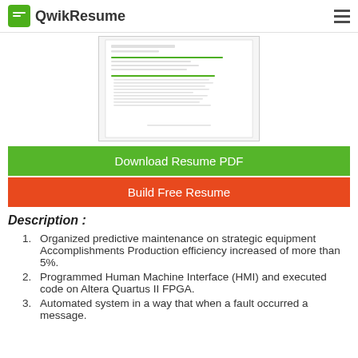QwikResume
[Figure (screenshot): Thumbnail preview of a resume document showing work experience sections with green headings]
Download Resume PDF
Build Free Resume
Description :
Organized predictive maintenance on strategic equipment Accomplishments Production efficiency increased of more than 5%.
Programmed Human Machine Interface (HMI) and executed code on Altera Quartus II FPGA.
Automated system in a way that when a fault occurred a message.